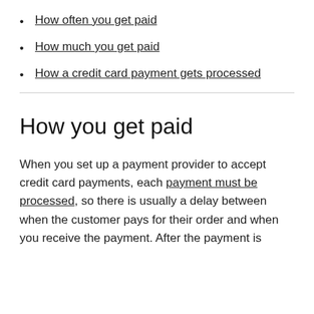How often you get paid
How much you get paid
How a credit card payment gets processed
How you get paid
When you set up a payment provider to accept credit card payments, each payment must be processed, so there is usually a delay between when the customer pays for their order and when you receive the payment. After the payment is